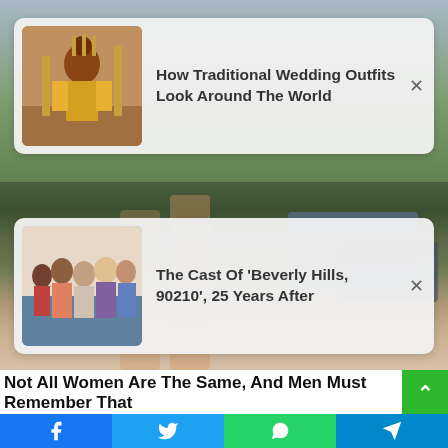[Figure (photo): Background photo showing person with Gucci bag outdoors with cars and hedges]
How Traditional Wedding Outfits Look Around The World
The Cast Of 'Beverly Hills, 90210', 25 Years After
Not All Women Are The Same, And Men Must Remember That
HERBEAUTY